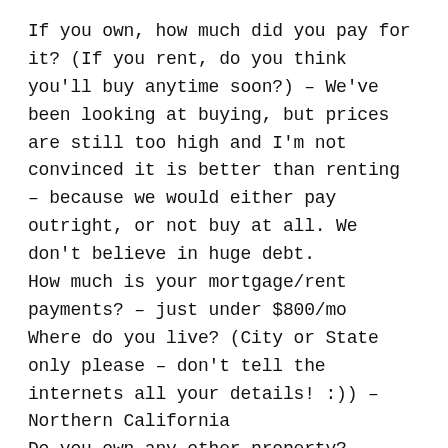If you own, how much did you pay for it? (If you rent, do you think you'll buy anytime soon?) – We've been looking at buying, but prices are still too high and I'm not convinced it is better than renting – because we would either pay outright, or not buy at all. We don't believe in huge debt.
How much is your mortgage/rent payments? – just under $800/mo
Where do you live? (City or State only please – don't tell the internets all your details! :)) – Northern California
Do you own any other property? (land, vacation home, boats, RVs) – No
*Bonus* Are you Happy with this? – We've been